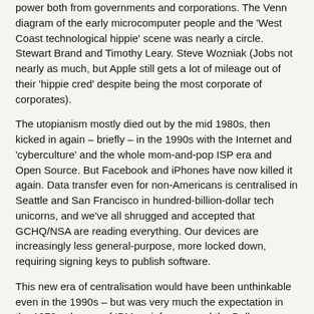power both from governments and corporations. The Venn diagram of the early microcomputer people and the 'West Coast technological hippie' scene was nearly a circle. Stewart Brand and Timothy Leary. Steve Wozniak (Jobs not nearly as much, but Apple still gets a lot of mileage out of their 'hippie cred' despite being the most corporate of corporates).
The utopianism mostly died out by the mid 1980s, then kicked in again – briefly – in the 1990s with the Internet and 'cyberculture' and the whole mom-and-pop ISP era and Open Source. But Facebook and iPhones have now killed it again. Data transfer even for non-Americans is centralised in Seattle and San Francisco in hundred-billion-dollar tech unicorns, and we've all shrugged and accepted that GCHQ/NSA are reading everything. Our devices are increasingly less general-purpose, more locked down, requiring signing keys to publish software.
This new era of centralisation would have been unthinkable even in the 1990s – but was very much the expectation in the 1970s, the era of IBM mainframes and the Bell telephone monopoly, before the microcomputers.
It's starting to feel like the 1980s-90s were a brief, weird optimistic anomaly. I hope maybe we can get another chance. But I think we'll have to first have a popular sensibility that demands it. Another 1960s, or something